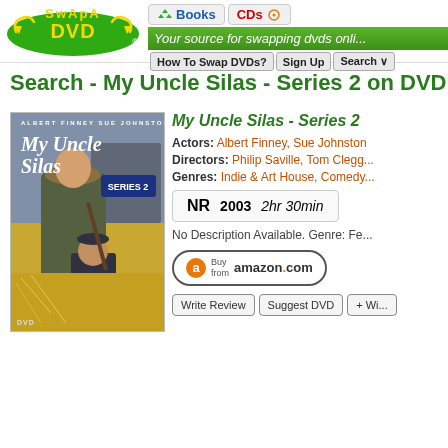[Figure (logo): SwapaDVD logo - green oval with yellow DVD text and circular arrows]
Books | CDs | Your source for swapping dvds online | How To Swap DVDs? | Sign Up | Search
Search - My Uncle Silas - Series 2 on DVD
[Figure (photo): DVD cover for My Uncle Silas - Series 2, showing Albert Finney in period costume with a boy in a hay field]
My Uncle Silas - Series 2
Actors: Albert Finney, Sue Johnston
Directors: Philip Saville, Tom Clegg
Genres: Indie & Art House, Comedy
NR  2003  2hr 30min
No Description Available. Genre: Fe
[Figure (other): Buy from amazon.com button]
Write Review | Suggest DVD | + Wi